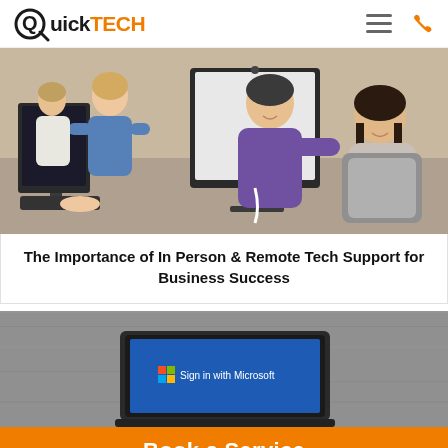QuickTECH
[Figure (photo): People working together at computers in an office setting, one man in purple shirt leaning over to assist a woman]
The Importance of In Person & Remote Tech Support for Business Success
[Figure (screenshot): Laptop screen showing a Microsoft sign-in button on a blue screen, placed on a grey surface]
Book a Service